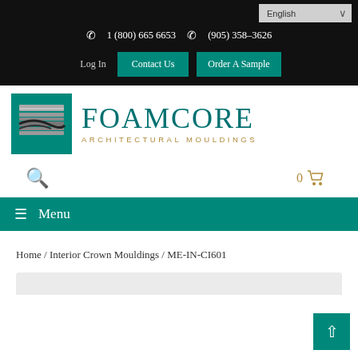English (language selector)
1 (800) 665 6653  (905) 358-3626
Log In  Contact Us  Order A Sample
[Figure (logo): Foamcore Architectural Mouldings logo with teal square icon showing grey moulding profile and teal text FOAMCORE with subtitle ARCHITECTURAL MOULDINGS in gold]
0 (cart icon)
≡ Menu
Home / Interior Crown Mouldings / ME-IN-CI601